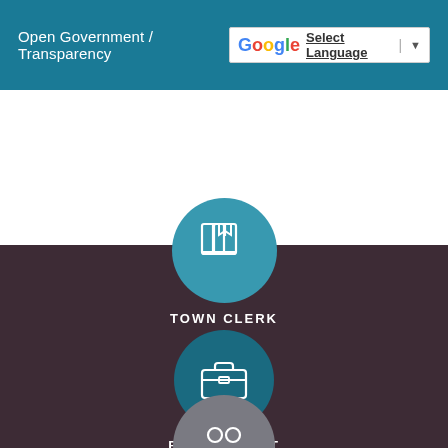Open Government / Transparency
[Figure (screenshot): Google Translate widget with 'Select Language' text and dropdown arrow]
[Figure (illustration): Teal circle icon with white book/bookmark icon representing Town Clerk]
TOWN CLERK
[Figure (illustration): Dark teal circle icon with white briefcase icon representing Employment]
EMPLOYMENT
[Figure (illustration): Gray circle icon with white people/group icon, partially visible at bottom]